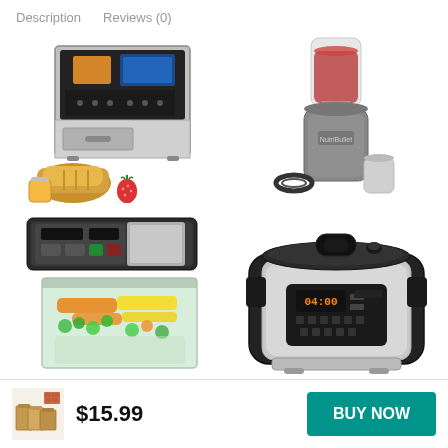Description   Reviews (0)
[Figure (photo): Stainless steel bread maker machine with loaves of bread and strawberries in front]
[Figure (photo): NutriBullet personal blender with cup and accessories]
[Figure (photo): Food vacuum sealer machine with vacuum-sealed bag of mixed vegetables]
[Figure (photo): Instant Pot pressure cooker, stainless steel, displaying 04:00 on LCD]
[Figure (photo): Small product thumbnail image showing brown paper bags]
$15.99
BUY NOW